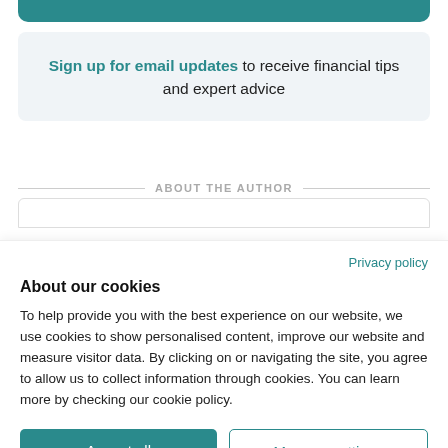Sign up for email updates to receive financial tips and expert advice
ABOUT THE AUTHOR
Privacy policy
About our cookies
To help provide you with the best experience on our website, we use cookies to show personalised content, improve our website and measure visitor data. By clicking on or navigating the site, you agree to allow us to collect information through cookies. You can learn more by checking our cookie policy.
Accept all
Manage settings